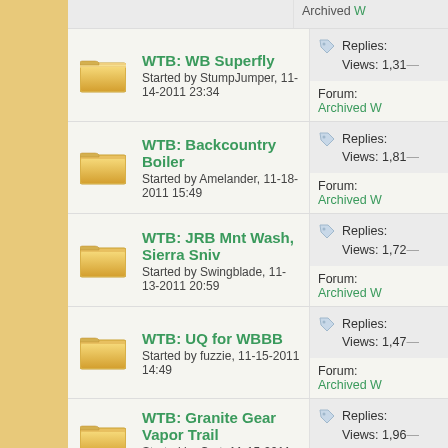WTB: WB Superfly — Started by StumpJumper, 11-14-2011 23:34 — Replies: [truncated] Views: 1,31[truncated] Forum: Archived [truncated]
WTB: Backcountry Boiler — Started by Amelander, 11-18-2011 15:49 — Replies: [truncated] Views: 1,81[truncated] Forum: Archived [truncated]
WTB: JRB Mnt Wash, Sierra Sniv — Started by Swingblade, 11-13-2011 20:59 — Replies: [truncated] Views: 1,72[truncated] Forum: Archived [truncated]
WTB: UQ for WBBB — Started by fuzzie, 11-15-2011 14:49 — Replies: [truncated] Views: 1,47[truncated] Forum: Archived [truncated]
WTB: Granite Gear Vapor Trail — Started by Curt, 11-15-2011 10:29 — Replies: [truncated] Views: 1,96[truncated]